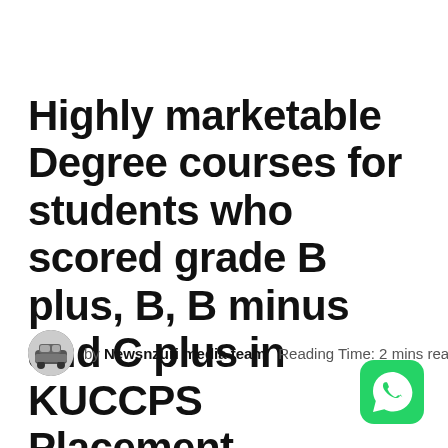Highly marketable Degree courses for students who scored grade B plus, B, B minus and C plus in KUCCPS Placement.
by Newsnzuri media team   Reading Time: 2 mins read